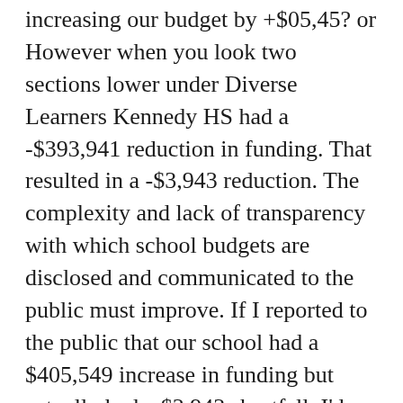increasing our budget by +$05,45? or However when you look two sections lower under Diverse Learners Kennedy HS had a -$393,941 reduction in funding. That resulted in a -$3,943 reduction. The complexity and lack of transparency with which school budgets are disclosed and communicated to the public must improve. If I reported to the public that our school had a $405,549 increase in funding but actually had a $3,943 shortfall, I'd get fired and be accused of fraud.
It gets worse. I analyzed the entire school by school budget reported by the Board to the